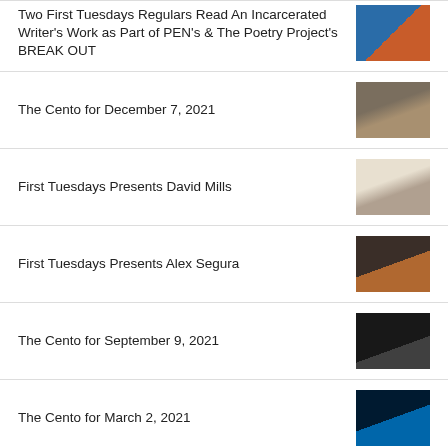Two First Tuesdays Regulars Read An Incarcerated Writer's Work as Part of PEN's & The Poetry Project's BREAK OUT
The Cento for December 7, 2021
First Tuesdays Presents David Mills
First Tuesdays Presents Alex Segura
The Cento for September 9, 2021
The Cento for March 2, 2021
First Tuesdays Presents Lola Koundakjian
First Tuesdays Presents Eugene Lim